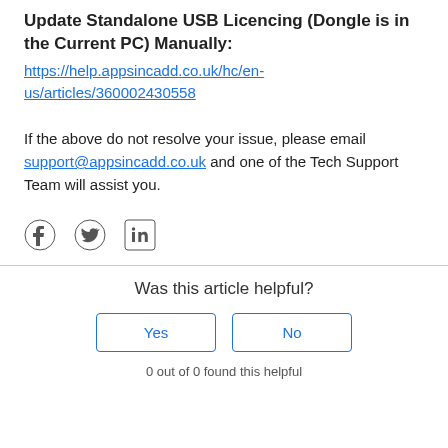Update Standalone USB Licencing (Dongle is in the Current PC) Manually:
https://help.appsincadd.co.uk/hc/en-us/articles/360002430558
If the above do not resolve your issue, please email support@appsincadd.co.uk and one of the Tech Support Team will assist you.
[Figure (other): Social media icons: Facebook, Twitter, LinkedIn]
Was this article helpful?
Yes  No
0 out of 0 found this helpful